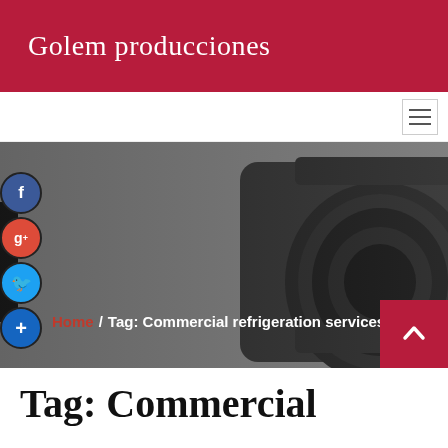Golem producciones
[Figure (screenshot): Hero banner image with a dark camera lens against a gray background. Breadcrumb navigation shows: Home / Tag: Commercial refrigeration services. Social media icons (Facebook, Google+, Twitter, Google+) on the left side.]
Tag: Commercial